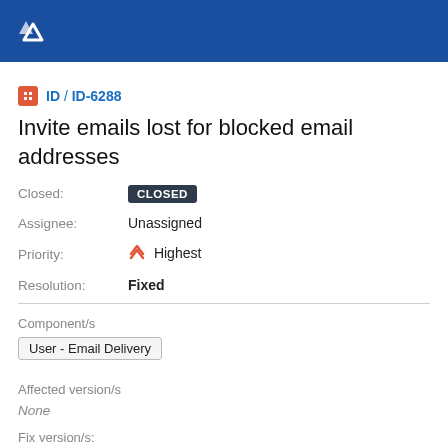Jira header bar with logo
ID / ID-6288
Invite emails lost for blocked email addresses
Closed: CLOSED
Assignee: Unassigned
Priority: Highest
Resolution: Fixed
Component/s
User - Email Delivery
Affected version/s
None
Fix version/s:
None
Label/s
None